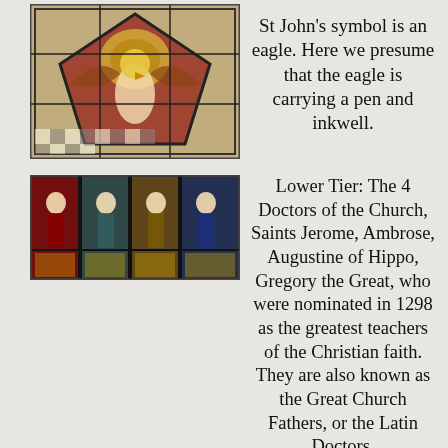[Figure (photo): Stained glass image of an eagle, St John's symbol, carrying a pen and inkwell]
St John's symbol is an eagle. Here we presume that the eagle is carrying a pen and inkwell.
[Figure (photo): Stained glass lower tier showing the 4 Doctors of the Church]
Lower Tier: The 4 Doctors of the Church, Saints Jerome, Ambrose, Augustine of Hippo, Gregory the Great, who were nominated in 1298 as the greatest teachers of the Christian faith. They are also known as the Great Church Fathers, or the Latin Doctors.
[Figure (photo): Stained glass image of St Jerome, a 4th century priest]
St Jerome was a 4th century priest, best known for translating the